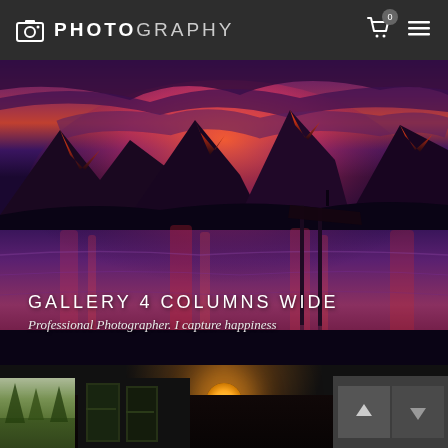PHOTOGRAPHY
[Figure (photo): Hero photograph of a dramatic mountain lake sunset scene with purple and orange sky, snow-capped peaks reflecting in calm water, with a dock/pier extending into the lake]
GALLERY 4 COLUMNS WIDE
Professional Photographer. I capture happiness
[Figure (photo): Dark interior scene with a warm glowing light bulb and windows showing trees outside, partial gallery thumbnail view at bottom]